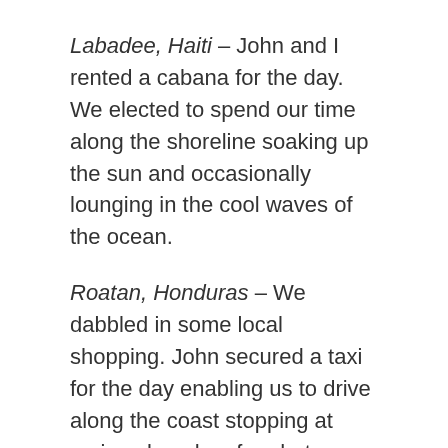Labadee, Haiti – John and I rented a cabana for the day. We elected to spend our time along the shoreline soaking up the sun and occasionally lounging in the cool waves of the ocean.
Roatan, Honduras – We dabbled in some local shopping. John secured a taxi for the day enabling us to drive along the coast stopping at various beaches for photo ops. We even made our way to an animal preserve to get up close and personal with the local wildlife.
Cozumel, Mexico – John and I rented a Jeep and made our way to a Mayan ruin. We wandered through the ruins taking our time and immersing ourselves in the splendor of the architecture. We drove along the coast stopping at a local restaurant for lunch al fresco style